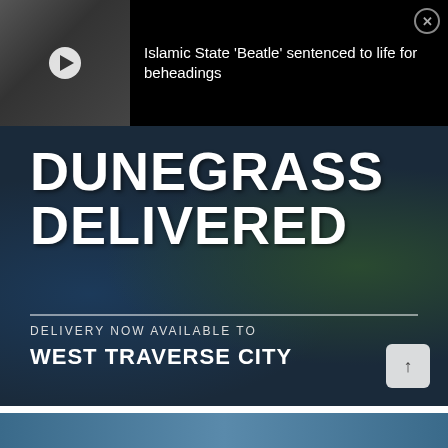[Figure (screenshot): News notification banner on black background showing a man in a black jacket with a video play button. Text reads: Islamic State 'Beatle' sentenced to life for beheadings. Close button in top right corner.]
[Figure (infographic): Advertisement for Dunegrass Delivered on a dark aerial map background showing a coastline. Large bold white text: DUNEGRASS DELIVERED. Below a divider line: DELIVERY NOW AVAILABLE TO WEST TRAVERSE CITY. Small button with up arrow in bottom right.]
[Figure (photo): Partial blue image at the bottom of the page.]